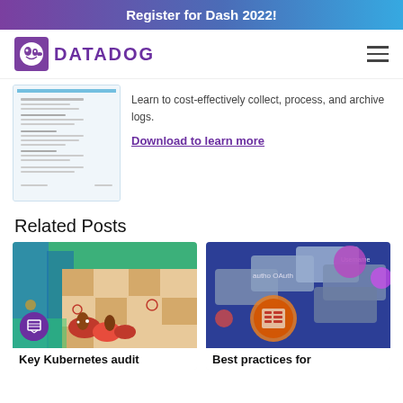Register for Dash 2022!
[Figure (logo): Datadog logo with purple dog icon and DATADOG wordmark]
Learn to cost-effectively collect, process, and archive logs.
Download to learn more
Related Posts
[Figure (illustration): Illustration of beavers with stacked logs, representing Kubernetes audit]
Key Kubernetes audit
[Figure (illustration): Illustration of OAuth and Username authentication network diagram]
Best practices for